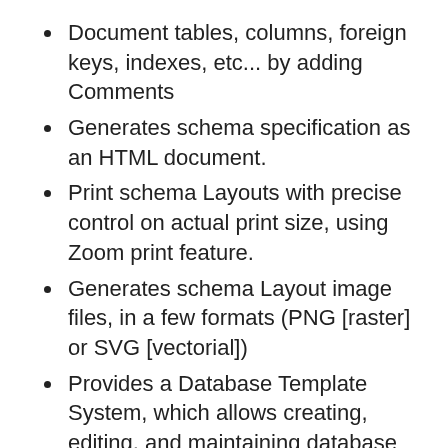Document tables, columns, foreign keys, indexes, etc... by adding Comments
Generates schema specification as an HTML document.
Print schema Layouts with precise control on actual print size, using Zoom print feature.
Generates schema Layout image files, in a few formats (PNG [raster] or SVG [vectorial])
Provides a Database Template System, which allows creating, editing, and maintaining database templates
Several Database Templates are already supplied, but new ones can be learned as well, by connecting to the target database